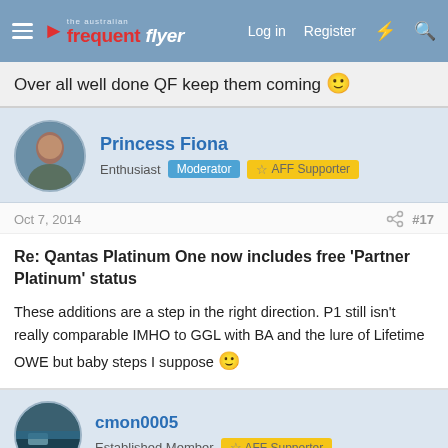the australian frequent flyer — Log in  Register
Over all well done QF keep them coming 🙂
Princess Fiona — Enthusiast  Moderator  AFF Supporter
Oct 7, 2014  #17
Re: Qantas Platinum One now includes free 'Partner Platinum' status
These additions are a step in the right direction. P1 still isn't really comparable IMHO to GGL with BA and the lure of Lifetime OWE but baby steps I suppose 🙂
cmon0005 — Established Member  AFF Supporter
Oct 7, 2014  #18